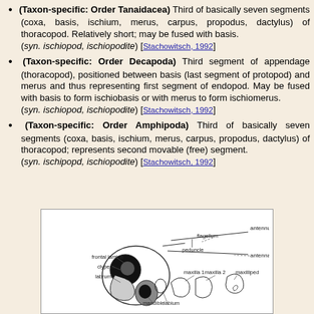(Taxon-specific: Order Tanaidacea) Third of basically seven segments (coxa, basis, ischium, merus, carpus, propodus, dactylus) of thoracopod. Relatively short; may be fused with basis. (syn. ischiopod, ischiopodite) [Stachowitsch, 1992]
(Taxon-specific: Order Decapoda) Third segment of appendage (thoracopod), positioned between basis (last segment of protopod) and merus and thus representing first segment of endopod. May be fused with basis to form ischiobasis or with merus to form ischiomerus. (syn. ischiopod, ischiopodite) [Stachowitsch, 1992]
(Taxon-specific: Order Amphipoda) Third of basically seven segments (coxa, basis, ischium, merus, carpus, propodus, dactylus) of thoracopod; represents second movable (free) segment. (syn. ischipopd, ischiopodite) [Stachowitsch, 1992]
[Figure (illustration): Scientific diagram of crustacean head/mouthparts anatomy with labeled parts: antennule, flagellum, peduncle, antenna, frontal lamina, clypeus, labrum, mandible, labium, maxilla 1, maxilla 2, maxilliped]